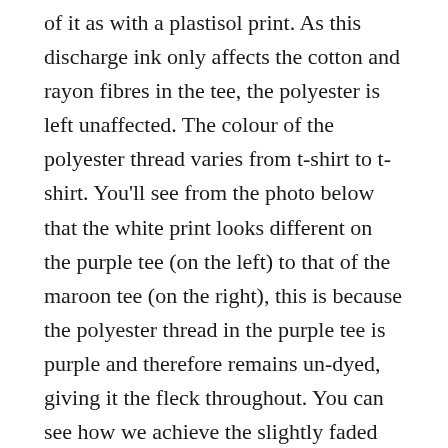of it as with a plastisol print. As this discharge ink only affects the cotton and rayon fibres in the tee, the polyester is left unaffected. The colour of the polyester thread varies from t-shirt to t-shirt. You'll see from the photo below that the white print looks different on the purple tee (on the left) to that of the maroon tee (on the right), this is because the polyester thread in the purple tee is purple and therefore remains un-dyed, giving it the fleck throughout. You can see how we achieve the slightly faded almost vintage look here. Whereas, the white print on the maroon tee is a nice bright white because the polyester thread is white.The print can fade ever so slightly after its first wash but then it's set for life, completely soft, completely part of the